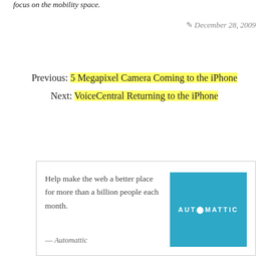focus on the mobility space.
✎ December 28, 2009
Previous: 5 Megapixel Camera Coming to the iPhone
Next: VoiceCentral Returning to the iPhone
Help make the web a better place for more than a billion people each month.
— Automattic
[Figure (logo): Automattic logo — blue square with white uppercase text 'AUTOMATTIC']